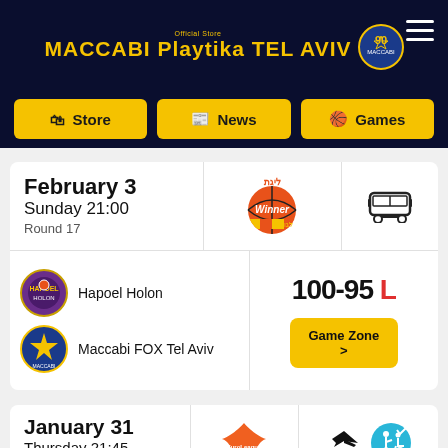MACCABI Playtika TEL AVIV
[Figure (screenshot): Navigation bar with Store, News, Games buttons in yellow on dark blue background]
February 3
Sunday 21:00
Round 17
[Figure (logo): Winner Liga basketball league logo]
[Figure (other): Bus icon]
Hapoel Holon
[Figure (logo): Hapoel Holon team badge]
Maccabi FOX Tel Aviv
[Figure (logo): Maccabi FOX Tel Aviv team badge]
100-95 L
Game Zone >
January 31
Thursday 21:45
Round 21
[Figure (logo): EuroLeague basketball logo (orange star/wing shape)]
[Figure (other): Airplane icon]
[Figure (other): Accessibility icon (blue circle with person and wheelchair symbols)]